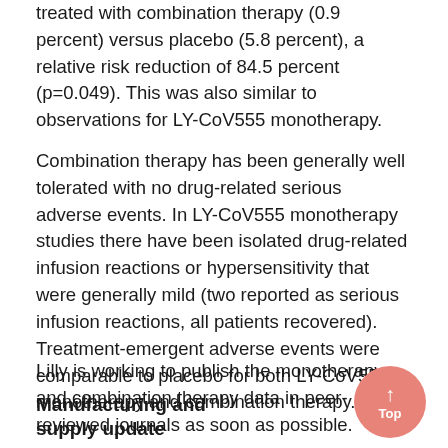treated with combination therapy (0.9 percent) versus placebo (5.8 percent), a relative risk reduction of 84.5 percent (p=0.049). This was also similar to observations for LY-CoV555 monotherapy.
Combination therapy has been generally well tolerated with no drug-related serious adverse events. In LY-CoV555 monotherapy studies there have been isolated drug-related infusion reactions or hypersensitivity that were generally mild (two reported as serious infusion reactions, all patients recovered). Treatment-emergent adverse events were comparable to placebo for both LY-CoV555 monotherapy and combination therapy.
Lilly is working to publish the monotherapy and combination therapy data in peer-reviewed journals as soon as possible.
Manufacturing and supply update